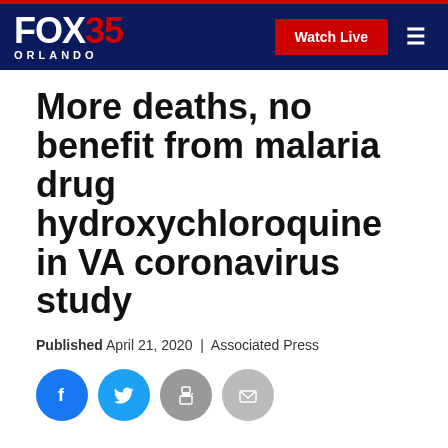FOX 35 ORLANDO | Watch Live
More deaths, no benefit from malaria drug hydroxychloroquine in VA coronavirus study
Published April 21, 2020 | Associated Press
[Figure (other): Social sharing icons: Facebook, Twitter, Print, Email]